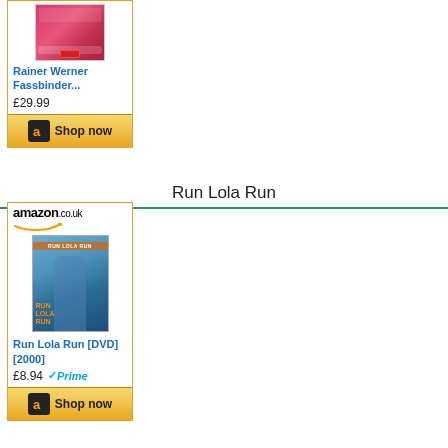[Figure (other): Amazon.co.uk product card for Rainer Werner Fassbinder DVD collection, priced at £29.99, with Shop now button]
Run Lola Run
[Figure (other): Amazon.co.uk product card for Run Lola Run [DVD] [2000], priced at £8.94 with Prime, with Shop now button]